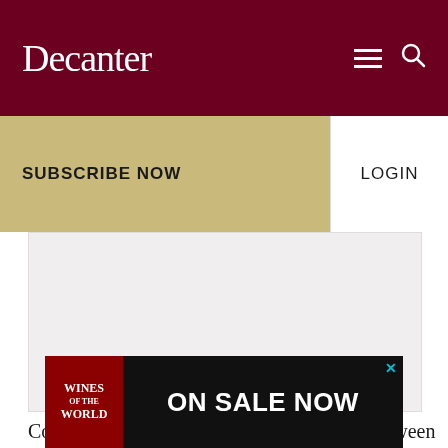Decanter
SUBSCRIBE NOW
LOGIN
[Figure (photo): Article image placeholder – light grey background]
Collas adds that inspections are rigorous. 'Between
[Figure (infographic): Advertisement banner: Wines of the World – ON SALE NOW]